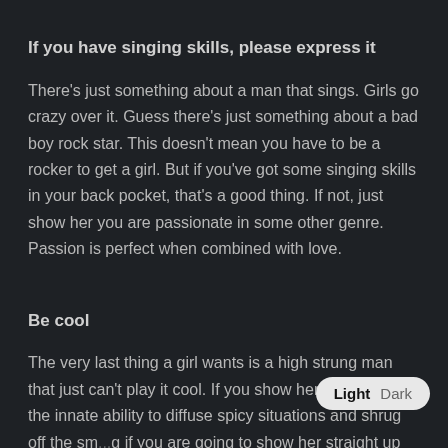If you have singing skills, please express it
There's just something about a man that sings. Girls go crazy over it. Guess there's just something about a bad boy rock star. This doesn't mean you have to be a rocker to get a girl. But if you've got some singing skills in your back pocket, that's a good thing. If not, just show her you are passionate in some other genre. Passion is perfect when combined with love.
Be cool
The very last thing a girl wants is a high strung man that just can't play it cool. If you show her you've got the innate ability to diffuse spicy situations and shrug off the sm... if you are going to show her straight up she'd be crazy not to fall in